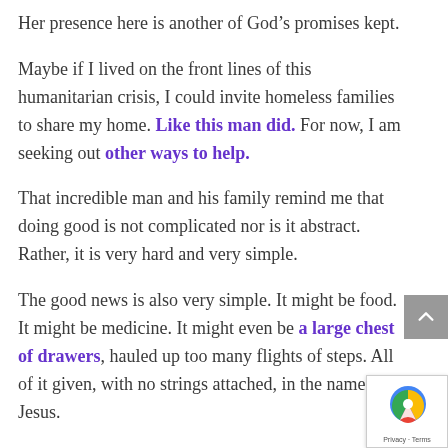Her presence here is another of God’s promises kept.
Maybe if I lived on the front lines of this humanitarian crisis, I could invite homeless families to share my home. Like this man did. For now, I am seeking out other ways to help.
That incredible man and his family remind me that doing good is not complicated nor is it abstract. Rather, it is very hard and very simple.
The good news is also very simple. It might be food. It might be medicine. It might even be a large chest of drawers, hauled up too many flights of steps. All of it given, with no strings attached, in the name of Jesus.